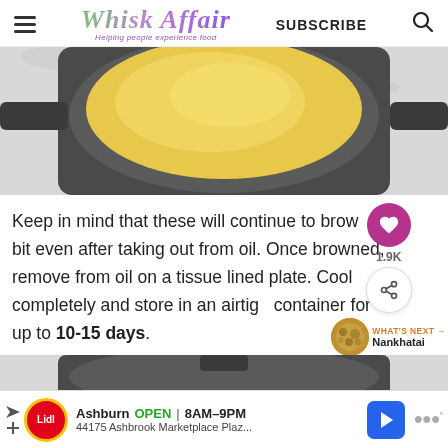Whisk Affair — Helping people experience food | SUBSCRIBE
[Figure (photo): Top-down view of a yellow/golden mixture in a dark pan on a marble surface]
Keep in mind that these will continue to brown a bit even after taking out from oil. Once browned, remove from oil on a tissue lined plate. Cool completely and store in an airtight container for up to 10-15 days.
[Figure (photo): Partial bottom image showing a dark pan on marble surface]
[Figure (other): Advertisement banner: Lidl store in Ashburn OPEN 8AM-9PM, 44175 Ashbrook Marketplace Plaz...]